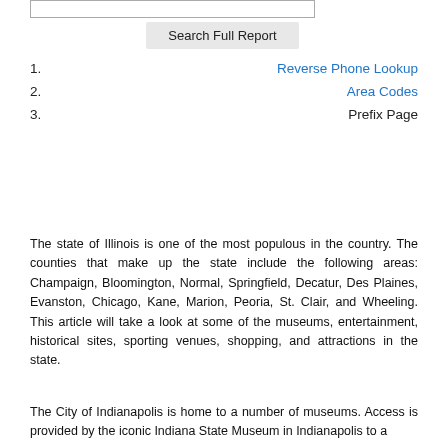[Figure (other): Search input box (text field)]
Search Full Report
1. Reverse Phone Lookup
2. Area Codes
3. Prefix Page
The state of Illinois is one of the most populous in the country. The counties that make up the state include the following areas: Champaign, Bloomington, Normal, Springfield, Decatur, Des Plaines, Evanston, Chicago, Kane, Marion, Peoria, St. Clair, and Wheeling. This article will take a look at some of the museums, entertainment, historical sites, sporting venues, shopping, and attractions in the state.
The City of Indianapolis is home to a number of museums. Access is provided by the iconic Indiana State Museum in Indianapolis to a